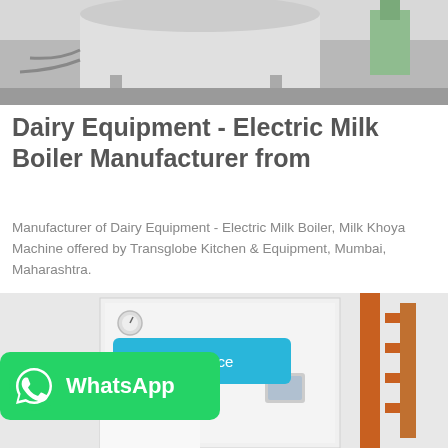[Figure (photo): Industrial dairy equipment with cylindrical tank and machinery in a facility setting]
Dairy Equipment - Electric Milk Boiler Manufacturer from
Manufacturer of Dairy Equipment - Electric Milk Boiler, Milk Khoya Machine offered by Transglobe Kitchen & Equipment, Mumbai, Maharashtra.
Get Price
[Figure (photo): Industrial boiler equipment with white cabinet and orange pipes in a facility]
[Figure (logo): WhatsApp button with icon and text]